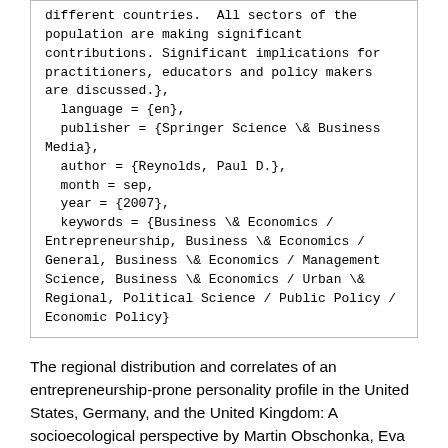different countries.  All sectors of the population are making significant contributions. Significant implications for practitioners, educators and policy makers are discussed.},
  language = {en},
  publisher = {Springer Science \& Business Media},
  author = {Reynolds, Paul D.},
  month = sep,
  year = {2007},
  keywords = {Business \& Economics / Entrepreneurship, Business \& Economics / General, Business \& Economics / Management Science, Business \& Economics / Urban \& Regional, Political Science / Public Policy / Economic Policy}
The regional distribution and correlates of an entrepreneurship-prone personality profile in the United States, Germany, and the United Kingdom: A socioecological perspective by Martin Obschonka, Eva Schmitt-Rodermund, Rainer Silbereisen, and Samuel Gosling, and Jeff Potter